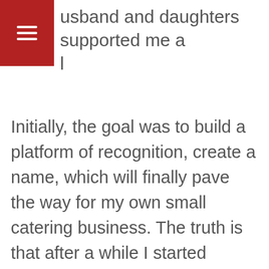husband and daughters supported me a l
Initially, the goal was to build a platform of recognition, create a name, which will finally pave the way for my own small catering business. The truth is that after a while I started enjoying blogging itself a lot, the whole creative process. Interacting with people from different cultures and getting feedback from them is immensely satisfying.